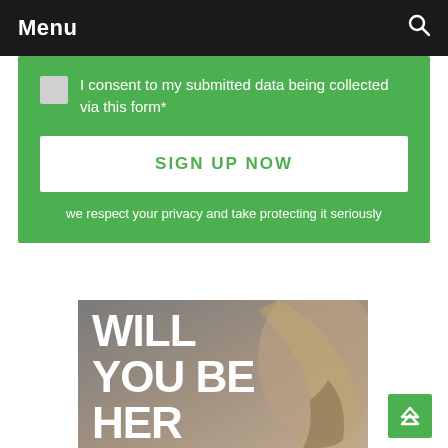Menu
I consent to my submitted data being collected via this form*
SIGN UP NOW
we respect your privacy and take protecting it seriously
[Figure (photo): Elephant trunk/body close-up with overlaid text 'WILL YOU BE HER']
WILL YOU BE HER